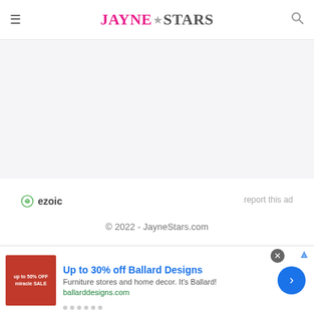JayneStars — site header with logo, hamburger menu, and search icon
[Figure (other): Light gray advertisement placeholder area]
ezoic   report this ad
© 2022 - JayneStars.com
[Figure (other): Bottom banner advertisement: Up to 30% off Ballard Designs. Furniture stores and home decor. It's Ballard! ballarddesigns.com]